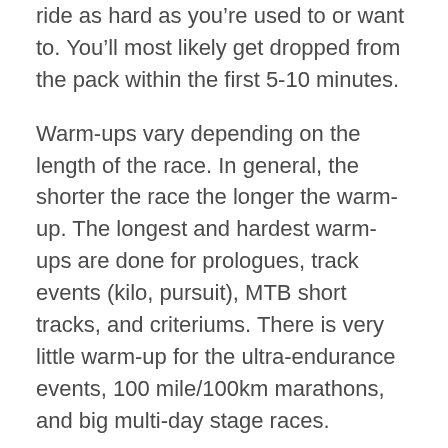ride as hard as you’re used to or want to.  You’ll most likely get dropped from the pack within the first 5-10 minutes.
Warm-ups vary depending on the length of the race.  In general, the shorter the race the longer the warm-up.  The longest and hardest warm-ups are done for prologues, track events (kilo, pursuit), MTB short tracks, and criteriums.  There is very little warm-up for the ultra-endurance events, 100 mile/100km marathons, and big multi-day stage races.
When trying to decide what to do in your warm-up, ask yourself what kind of intensity you think you will be racing at for the first 10-20 minutes.  If the race starts slow with a more social atmosphere until an hour or two into the event, then a moderate warm-up with some endurance and a little tempo work will do you very well.